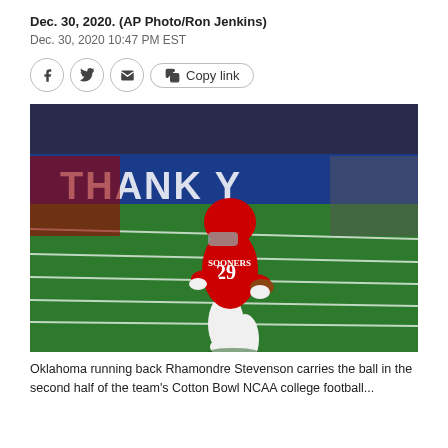Dec. 30, 2020. (AP Photo/Ron Jenkins)
Dec. 30, 2020 10:47 PM EST
[Figure (photo): Oklahoma running back Rhamondre Stevenson in red Sooners uniform number 29 carrying a football on a green turf field during a bowl game, with players and coaches visible in the background near a blue wall with partial text 'THANK Y']
Oklahoma running back Rhamondre Stevenson carries the ball in the second half of the team's Cotton Bowl NCAA college football...